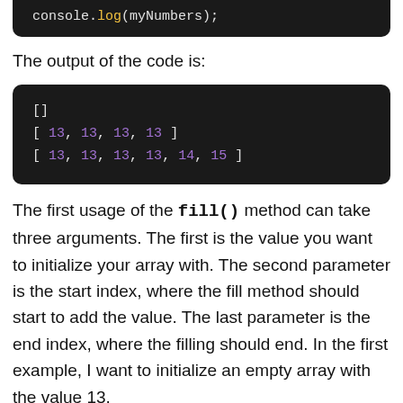[Figure (screenshot): Code block showing: console.log(myNumbers);]
The output of the code is:
[Figure (screenshot): Output block showing: []
[ 13, 13, 13, 13 ]
[ 13, 13, 13, 13, 14, 15 ]]
The first usage of the fill() method can take three arguments. The first is the value you want to initialize your array with. The second parameter is the start index, where the fill method should start to add the value. The last parameter is the end index, where the filling should end. In the first example, I want to initialize an empty array with the value 13,